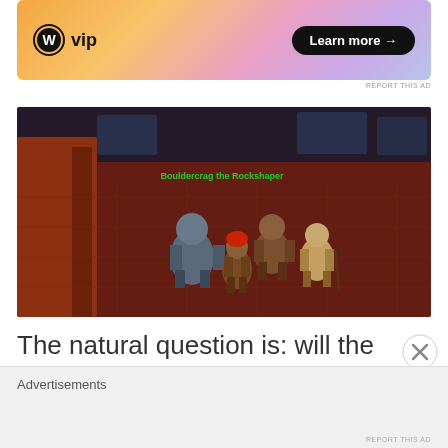[Figure (screenshot): WordPress VIP advertisement banner with gradient background (orange to pink to purple), WordPress logo, 'vip' text, and a 'Learn more →' button]
REPORT THIS AD
[Figure (screenshot): World of Warcraft game screenshot showing characters on a reddish-brown stone floor in a city area, with a green name tag reading 'Bouldercrag the Rockshaper']
The natural question is: will the hero turn into
Advertisements
REPORT THIS AD